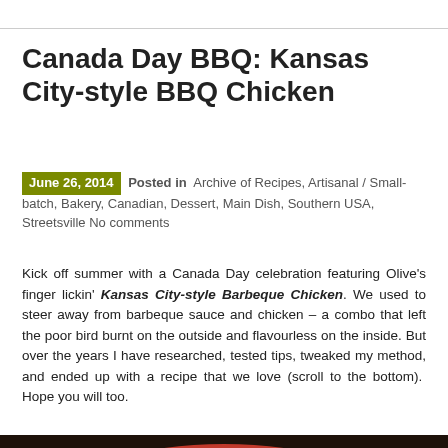Canada Day BBQ: Kansas City-style BBQ Chicken
June 26, 2014  Posted in  Archive of Recipes, Artisanal / Small-batch, Bakery, Canadian, Dessert, Main Dish, Southern USA, Streetsville No comments
Kick off summer with a Canada Day celebration featuring Olive’s finger lickin’ Kansas City-style Barbeque Chicken. We used to steer away from barbeque sauce and chicken – a combo that left the poor bird burnt on the outside and flavourless on the inside. But over the years I have researched, tested tips, tweaked my method, and ended up with a recipe that we love (scroll to the bottom).  Hope you will too.
[Figure (photo): Plate of Kansas City-style BBQ chicken pieces on a white plate with red rim, on a dark background, with a firework illustration in the lower left corner. A 'Follow' button is visible in the lower right.]